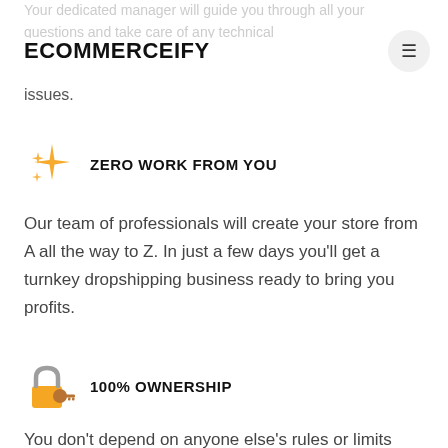ECOMMERCEIFY
Your dedicated manager will guide you through all your questions and take care of any technical issues.
ZERO WORK FROM YOU
Our team of professionals will create your store from A all the way to Z. In just a few days you'll get a turnkey dropshipping business ready to bring you profits.
100% OWNERSHIP
You don't depend on anyone else's rules or limits